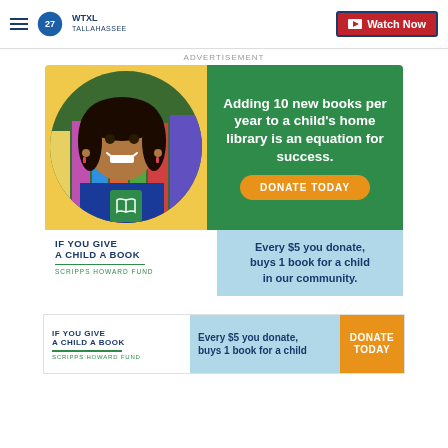[Figure (screenshot): WTXL Tallahassee website header with hamburger menu, ABC27 logo, and Watch Now button]
ADVERTISEMENT
[Figure (infographic): If You Give a Child a Book - Scripps Howard Fund advertisement. Green banner with photo of smiling child and text: Adding 10 new books per year to a child's home library is an equation for success. DONATE TODAY button. Below: Every $5 you donate, buys 1 book for a child in our community.]
[Figure (infographic): If You Give a Child a Book - Scripps Howard Fund bottom banner. Every $5 you donate, buys 1 book for a child. DONATE TODAY button.]